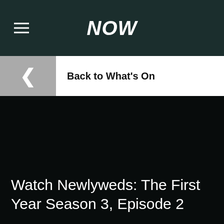NOW
Back to What's On
[Figure (screenshot): Dark near-black background area representing a video or content thumbnail region]
Watch Newlyweds: The First Year Season 3, Episode 2